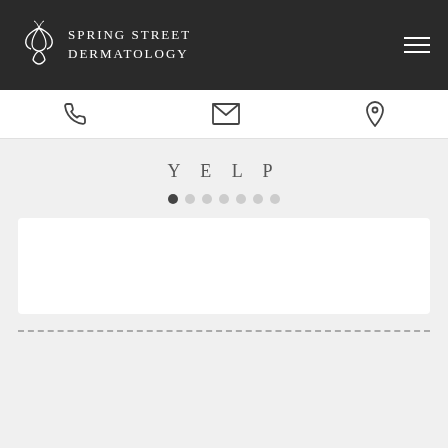[Figure (logo): Spring Street Dermatology logo with decorative floral/leaf icon and text in white on dark background]
[Figure (infographic): Icon navigation bar with phone, envelope/mail, and map pin icons]
Y E L P
[Figure (infographic): Carousel navigation dots: 7 dots, first one active/dark, rest light gray]
[Figure (infographic): White review card placeholder (empty white rectangle)]
Our 30,000+ sq foot dermatology center in New York is the most…
[Figure (infographic): Message us chat button, purple rounded rectangle, bottom right corner]